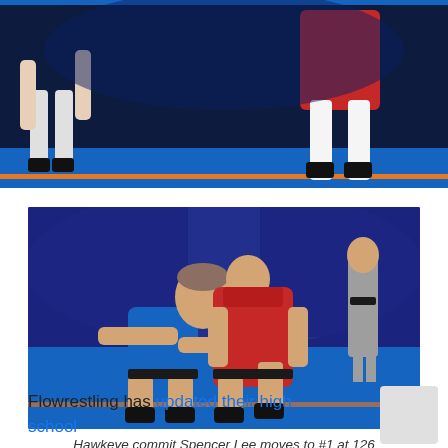[Figure (photo): Top portion of a wrestling match photo showing two wrestlers on a blue mat with orange border stripe, partially cropped]
[Figure (photo): Two wrestlers competing on a blue mat, one in blue singlet and one in red singlet, in a grappling position. A referee in gray pants stands nearby.]
Hawkeye commit Spencer Lee moves to #1 at 126
Flowrestling has updated their high school